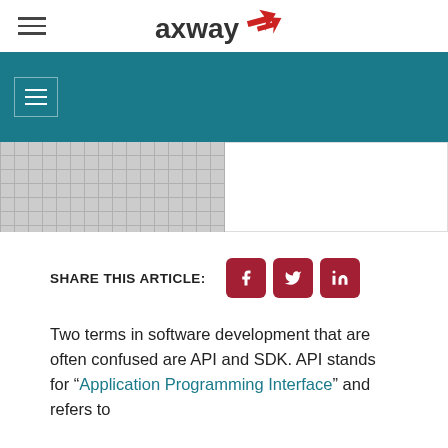[Figure (logo): Axway logo with red arrow icon and dark gray 'axway' wordmark]
[Figure (screenshot): Teal navigation band with hamburger menu button on white background]
[Figure (photo): Gray grid placeholder image on left, white area on right]
SHARE THIS ARTICLE:
[Figure (infographic): Social share buttons: Facebook (f), Twitter (bird), LinkedIn (in) — dark red rounded squares]
Two terms in software development that are often confused are API and SDK. API stands for “Application Programming Interface” and refers to